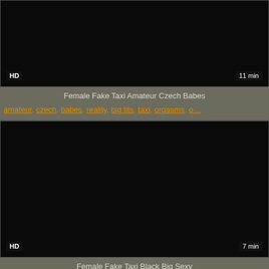[Figure (screenshot): Dark/black video thumbnail with HD badge bottom-left and '11 min' badge bottom-right]
Female Fake Taxi Amateur Czech Babes
amateur, czech, babes, reality, big tits, taxi, orgasms, o...
[Figure (screenshot): Dark/black video thumbnail with HD badge bottom-left and '7 min' badge bottom-right]
Female Fake Taxi Black Big Sexy
black, big, sexy, cock, fake, female, fucks, sucks, taxi, ...